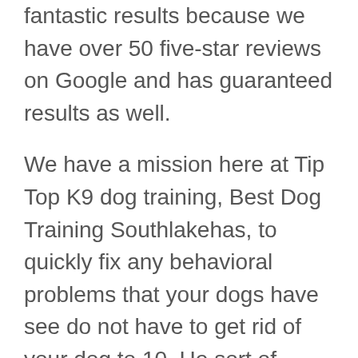fantastic results because we have over 50 five-star reviews on Google and has guaranteed results as well.
We have a mission here at Tip Top K9 dog training, Best Dog Training Southlakehas, to quickly fix any behavioral problems that your dogs have see do not have to get rid of your dog to 10. He sort of behavioral problems. We don't want to talk to be a nuisance, but we wanted to be a best friend, your family. We have been able to help many different dogs and we are going to be able to help use as well. There are a few harder cases that we've seen, but we'll work very closely with you...